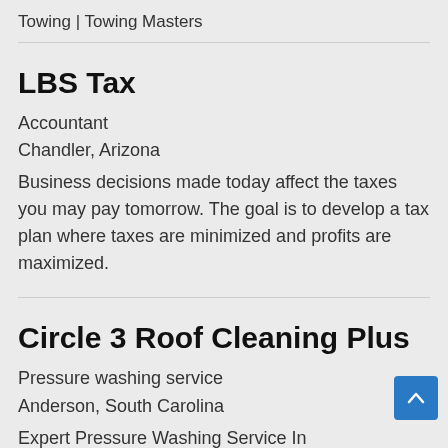Towing | Towing Masters
LBS Tax
Accountant
Chandler, Arizona
Business decisions made today affect the taxes you may pay tomorrow. The goal is to develop a tax plan where taxes are minimized and profits are maximized.
Circle 3 Roof Cleaning Plus
Pressure washing service
Anderson, South Carolina
Expert Pressure Washing Service In...